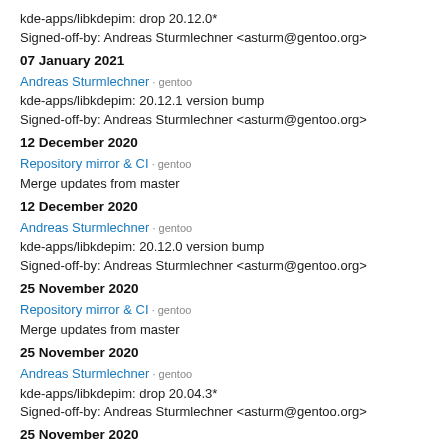kde-apps/libkdepim: drop 20.12.0*
Signed-off-by: Andreas Sturmlechner <asturm@gentoo.org>
07 January 2021
Andreas Sturmlechner · gentoo
kde-apps/libkdepim: 20.12.1 version bump
Signed-off-by: Andreas Sturmlechner <asturm@gentoo.org>
12 December 2020
Repository mirror & CI · gentoo
Merge updates from master
12 December 2020
Andreas Sturmlechner · gentoo
kde-apps/libkdepim: 20.12.0 version bump
Signed-off-by: Andreas Sturmlechner <asturm@gentoo.org>
25 November 2020
Repository mirror & CI · gentoo
Merge updates from master
25 November 2020
Andreas Sturmlechner · gentoo
kde-apps/libkdepim: drop 20.04.3*
Signed-off-by: Andreas Sturmlechner <asturm@gentoo.org>
25 November 2020
Repository mirror & CI · gentoo